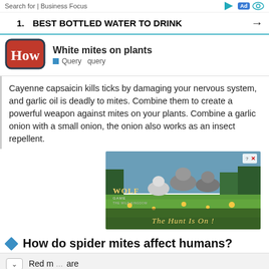Search for | Business Focus
1.  BEST BOTTLED WATER TO DRINK →
[Figure (logo): How logo — red rounded rectangle with white text 'How']
White mites on plants
Query  query
Cayenne capsaicin kills ticks by damaging your nervous system, and garlic oil is deadly to mites. Combine them to create a powerful weapon against mites on your plants. Combine a garlic onion with a small onion, the onion also works as an insect repellent.
[Figure (illustration): Wolf Game: The Wild Kingdom advertisement showing three wolves in a field with text 'THE HUNT IS ON !']
How do spider mites affect humans?
Red m… are and ti… ntents